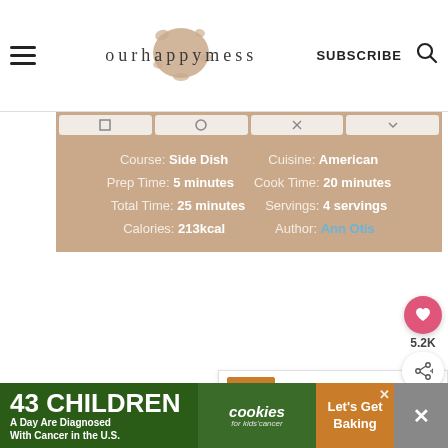ourhappymess | SUBSCRIBE
Course: Side Dish   Cuisine: American
Prep Time: 5 minutes   Cook Time: 20 minutes
Total Time: 25 minutes   Servings: 4 servings
Calories: 213kcal   Author: Ann Otis
[Figure (photo): White content area below recipe info bar (recipe photo placeholder)]
5.2K
WHAT'S NEXT → Oven Roasted Sweet...
43 CHILDREN A Day Are Diagnosed With Cancer in the U.S.   cookies for kids' cancer   Let's Get Baking